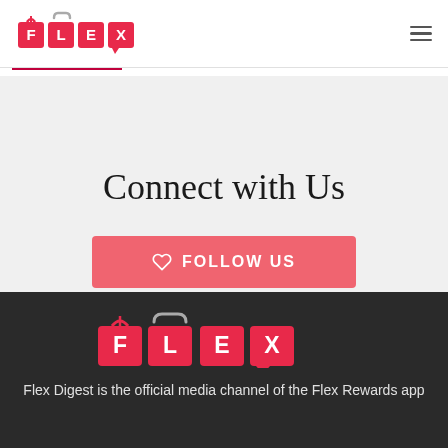[Figure (logo): FLEX logo with red tiles spelling F, L, E, X with bow and bag icons, and hamburger menu icon on right]
Connect with Us
[Figure (other): Salmon/coral colored button with heart icon and text FOLLOW US]
...
[Figure (logo): FLEX logo in footer on dark background]
Flex Digest is the official media channel of the Flex Rewards app